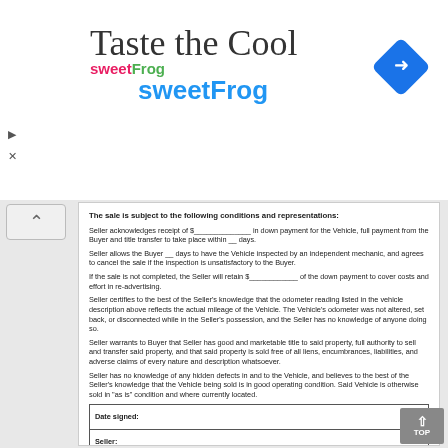[Figure (logo): sweetFrog logo with pink and green text, advertisement banner: 'Taste the Cool / sweetFrog']
The sale is subject to the following conditions and representations:
Seller acknowledges receipt of $______________ in down payment for the Vehicle, full payment from the Buyer and title transfer to take place within __ days.
Seller allows the Buyer __ days to have the Vehicle inspected by an independent mechanic, and agrees to cancel the sale if the inspection is unsatisfactory to the Buyer.
If the sale is not completed, the Seller will retain $____________ of the down payment to cover costs and effort in re-advertising.
Seller certifies to the best of the Seller's knowledge that the odometer reading listed in the vehicle description above reflects the actual mileage of the Vehicle. The Vehicle's odometer was not altered, set back, or disconnected while in the Seller's possession, and the Seller has no knowledge of anyone doing so.
Seller warrants to Buyer that Seller has good and marketable title to said property, full authority to sell and transfer said property, and that said property is sold free of all liens, encumbrances, liabilities, and adverse claims of every nature and description whatsoever.
Seller has no knowledge of any hidden defects in and to the Vehicle, and believes to the best of the Seller's knowledge that the Vehicle being sold is in good operating condition. Said Vehicle is otherwise sold in "as is" condition and where currently located.
| Date signed: |
| Seller: |
| Buyer: |
| In the presence of (Witness): |
| Print name of witness: |